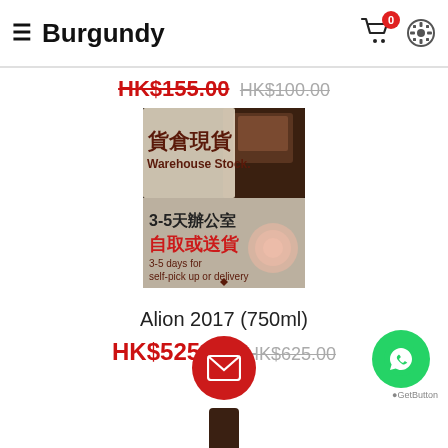≡ Burgundy
HK$155.00 HK$100.00
[Figure (photo): Warehouse stock promotional image showing chocolate/wine related items with Chinese and English text: 貨倉現貨 Warehouse Stock, 3-5天辦公室 自取或送貨, 3-5 days for self-pick up or delivery]
Alion 2017 (750ml)
HK$525.00 HK$625.00
[Figure (illustration): Red circular email button icon]
[Figure (illustration): Green WhatsApp button with phone icon, labeled AGetButton]